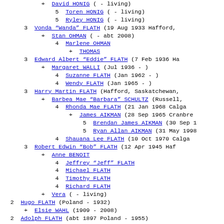+ David HONIG ( - living)
5  Toren HONIG ( - living)
5  Ryley HONIG ( - living)
3  Vonda "Wanda" FLATH (19 Aug 1933 Hafford,
+ Stan OHMAN ( - abt 2008)
4  Marlene OHMAN
+ THOMAS
3  Edward Albert "Eddie" FLATH (7 Feb 1936 Ha
+ Margaret WALLI (Jul 1936 - )
4  Suzanne FLATH (Jan 1962 - )
4  Wendy FLATH (Jan 1965 - )
3  Harry Martin FLATH (Hafford, Saskatchewan,
+ Barbea Mae "Barbara" SCHULTZ (Russell,
4  Rhonda Mae FLATH (21 Jan 1968 Calga
+ James AIKMAN (28 Sep 1965 Cranbroo
5  Brendan James AIKMAN (30 Sep 1
5  Ryan Allan AIKMAN (31 May 1998
4  Shauana Lee FLATH (10 Oct 1970 Calga
3  Robert Edwin "Bob" FLATH (12 Apr 1945 Haf
+ Anne BENOIT
4  Jeffrey "Jeff" FLATH
4  Michael FLATH
4  Timothy FLATH
4  Richard FLATH
+ Vera ( - living)
2  Hugo FLATH (Poland - 1932)
+ Elsie WAHL (1909 - 2008)
2  Adolph FLATH (abt 1897 Poland - 1955)
+ Elsie WAHL (1909 - 2008)
2  Edmond Teofil "Ted" FLATH (8 Aug 1900 Poland -
+ Margaret Jean CHANT